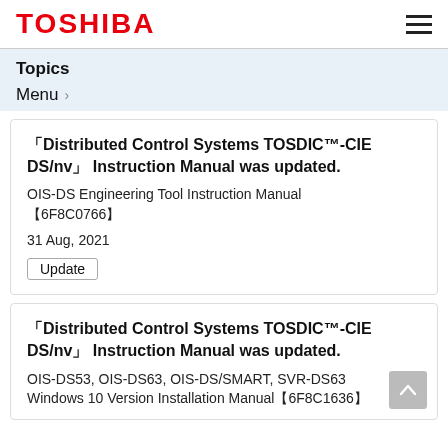TOSHIBA
Topics
Menu
「Distributed Control Systems TOSDIC™-CIE DS/nv」 Instruction Manual was updated.
OIS-DS Engineering Tool Instruction Manual 【6F8C0766】
31 Aug, 2021
Update
「Distributed Control Systems TOSDIC™-CIE DS/nv」 Instruction Manual was updated.
OIS-DS53, OIS-DS63, OIS-DS/SMART, SVR-DS63 Windows 10 Version Installation Manual【6F8C1636】